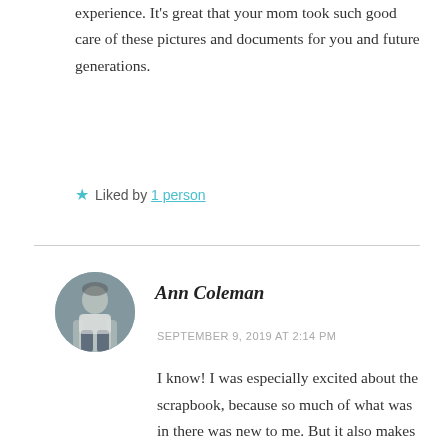experience. It's great that your mom took such good care of these pictures and documents for you and future generations.
★ Liked by 1 person
Ann Coleman
SEPTEMBER 9, 2019 AT 2:14 PM
I know! I was especially excited about the scrapbook, because so much of what was in there was new to me. But it also makes me sad to realize that our kids, and certainly our grandchildren, probably won't have this experience. Now that we